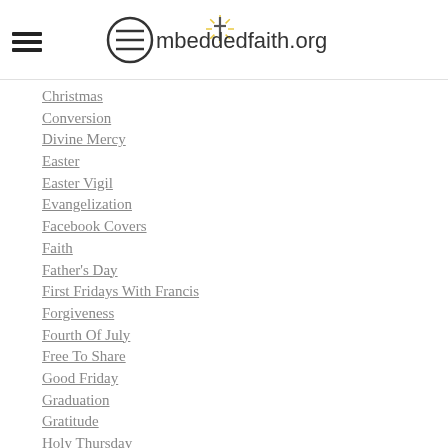EmbeddedFaith.org
Christmas
Conversion
Divine Mercy
Easter
Easter Vigil
Evangelization
Facebook Covers
Faith
Father's Day
First Fridays With Francis
Forgiveness
Fourth Of July
Free To Share
Good Friday
Graduation
Gratitude
Holy Thursday
Holy Week
Hope